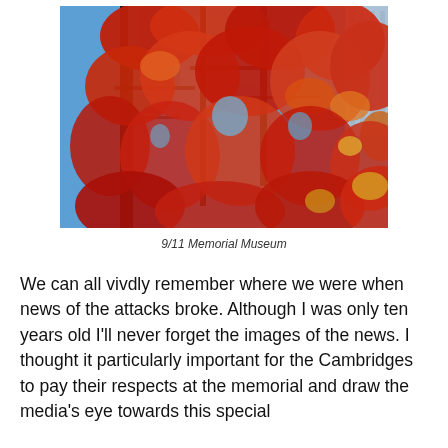[Figure (photo): Upward-looking photograph through a tree with vivid red and orange autumn leaves against a bright blue sky, with the edge of a modern glass building visible on the right side. Photo taken at the 9/11 Memorial Museum area.]
9/11 Memorial Museum
We can all vivdly remember where we were when news of the attacks broke. Although I was only ten years old I'll never forget the images of the news. I thought it particularly important for the Cambridges to pay their respects at the memorial and draw the media's eye towards this special